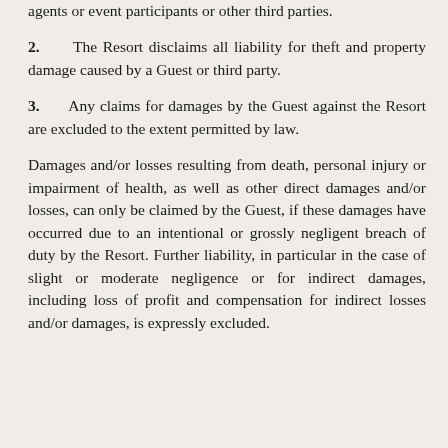agents or event participants or other third parties.
2. The Resort disclaims all liability for theft and property damage caused by a Guest or third party.
3. Any claims for damages by the Guest against the Resort are excluded to the extent permitted by law.
Damages and/or losses resulting from death, personal injury or impairment of health, as well as other direct damages and/or losses, can only be claimed by the Guest, if these damages have occurred due to an intentional or grossly negligent breach of duty by the Resort. Further liability, in particular in the case of slight or moderate negligence or for indirect damages, including loss of profit and compensation for indirect losses and/or damages, is expressly excluded.